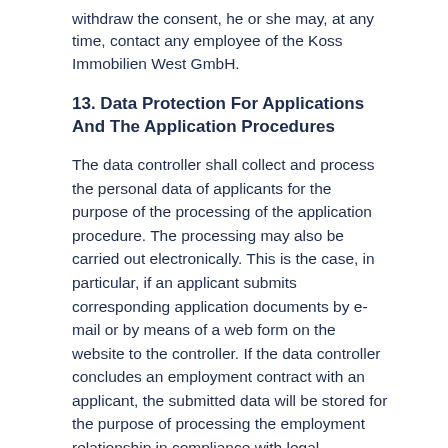withdraw the consent, he or she may, at any time, contact any employee of the Koss Immobilien West GmbH.
13. Data Protection For Applications And The Application Procedures
The data controller shall collect and process the personal data of applicants for the purpose of the processing of the application procedure. The processing may also be carried out electronically. This is the case, in particular, if an applicant submits corresponding application documents by e-mail or by means of a web form on the website to the controller. If the data controller concludes an employment contract with an applicant, the submitted data will be stored for the purpose of processing the employment relationship in compliance with legal requirements. If no employment contract is concluded with the applicant by the controller, the application documents